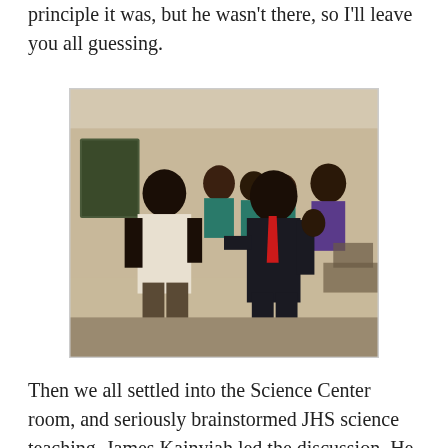principle it was, but he wasn't there, so I'll leave you all guessing.
[Figure (photo): Two men shaking hands or interacting indoors, one wearing a white shirt and the other wearing a red tie and dark jacket. Several students in teal/blue uniforms are visible in the background, along with other adults. The setting appears to be a school or office room.]
Then we all settled into the Science Center room, and seriously brainstormed JHS science teaching. James Kainyiah led the discussion. He is not only the Chair of WHH, which, with our help, built and owns the Heritage facility, but is also the Development Chief of Axim Traditional area, going by the stool name of Nana Kaku